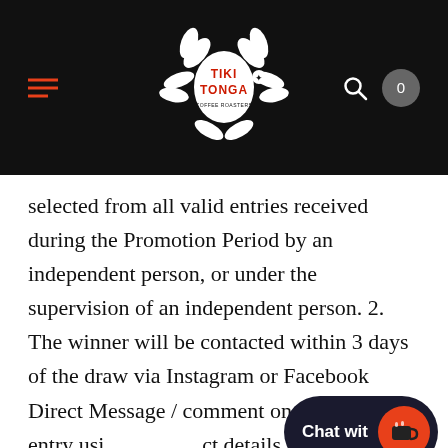[Figure (logo): Tiki Tonga logo with decorative turtle and leaf motif in white and red on black header bar, with hamburger menu on left, search icon and cart (0) on right]
selected from all valid entries received during the Promotion Period by an independent person, or under the supervision of an independent person. 2. The winner will be contacted within 3 days of the draw via Instagram or Facebook Direct Message / comment on the original entry using the contact details provided with their entry and will be asked to provide their full name